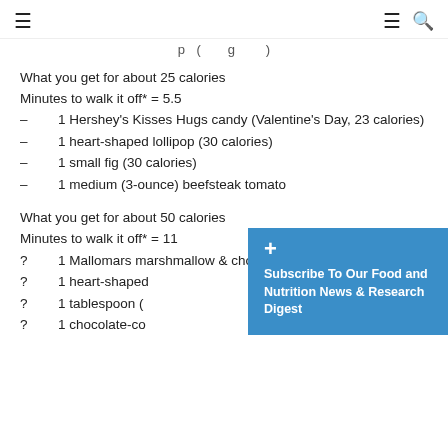≡  ≡ 🔍
p ( g )
What you get for about 25 calories
Minutes to walk it off* = 5.5
1 Hershey's Kisses Hugs candy (Valentine's Day, 23 calories)
1 heart-shaped lollipop (30 calories)
1 small fig (30 calories)
1 medium (3-ounce) beefsteak tomato
What you get for about 50 calories
Minutes to walk it off* = 11
1 Mallomars marshmallow & chocolate cookie (60 calories)
1 heart-shaped…
1 tablespoon (…
1 chocolate-co…
+ Subscribe To Our Food and Nutrition News & Research Digest